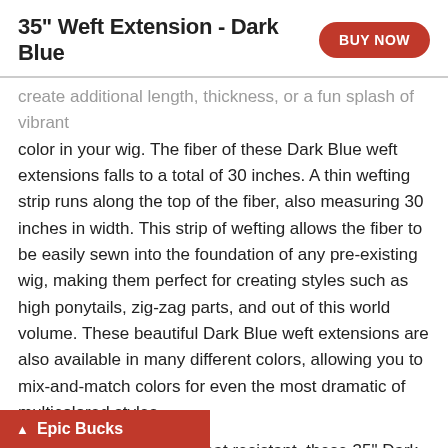35" Weft Extension - Dark Blue
create additional length, thickness, or a fun splash of vibrant color in your wig. The fiber of these Dark Blue weft extensions falls to a total of 30 inches. A thin wefting strip runs along the top of the fiber, also measuring 30 inches in width. This strip of wefting allows the fiber to be easily sewn into the foundation of any pre-existing wig, making them perfect for creating styles such as high ponytails, zig-zag parts, and out of this world volume. These beautiful Dark Blue weft extensions are also available in many different colors, allowing you to mix-and-match colors for even the most dramatic of multicolored styles.
Due to our fibers being heat resistant, these 35" Dark Blue weft extensions can be styled with tools such as flat irons, blow dryers, and curling irons heated to temperatures up to 410 degrees Fahrenheit (though we suggest keeping the temperature around 350 degrees as long term exposure to heat could potentially change the fiber’s texture). Our fibers are stant, making them easy to take care of and the fiber. All content is truncated.
Epic Bucks